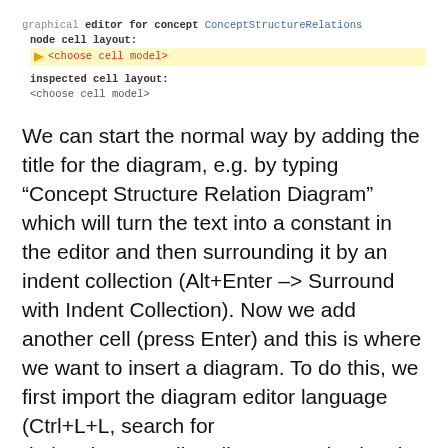[Figure (screenshot): Screenshot of a graphical editor configuration for concept ConceptStructureRelations, showing node cell layout with highlighted <choose cell model> and inspected cell layout with <choose cell model>]
We can start the normal way by adding the title for the diagram, e.g. by typing “Concept Structure Relation Diagram” which will turn the text into a constant in the editor and then surrounding it by an indent collection (Alt+Enter –> Surround with Indent Collection). Now we add another cell (press Enter) and this is where we want to insert a diagram. To do this, we first import the diagram editor language (Ctrl+L+L, search for de.itemis.mps.editor.diagram and select it for import). Now we can choose diagram, which will insert a diagram cell: